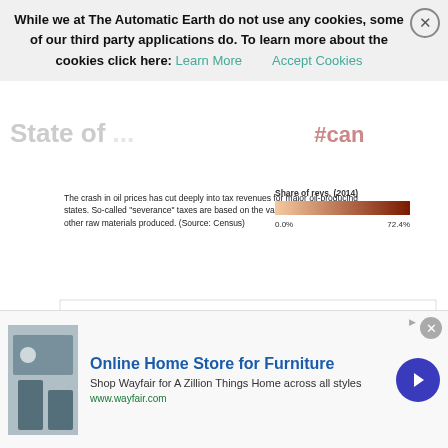While we at The Automatic Earth do not use any cookies, some of our third party applications do. To learn more about the cookies click here:
Learn More   Accept Cookies
The crash in oil prices has cut deeply into tax revenues for major oil-producing states. So-called "severance" taxes are based on the value of oil, natural gas and other raw materials produced. (Source: Census)
[Figure (bubble-chart): State oil tax revenues]